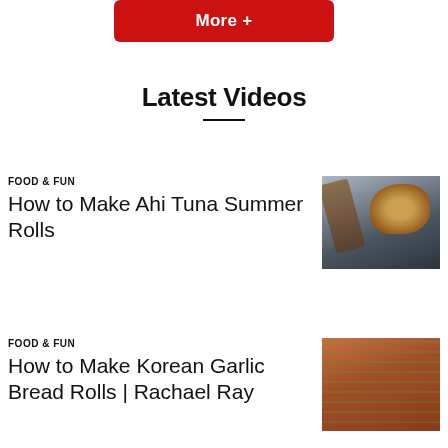More +
Latest Videos
FOOD & FUN
How to Make Ahi Tuna Summer Rolls
[Figure (photo): Photo of Ahi Tuna Summer Rolls on a dark plate with chopsticks]
FOOD & FUN
How to Make Korean Garlic Bread Rolls | Rachael Ray
[Figure (photo): Photo of Korean Garlic Bread Rolls with herbs and cheese topping]